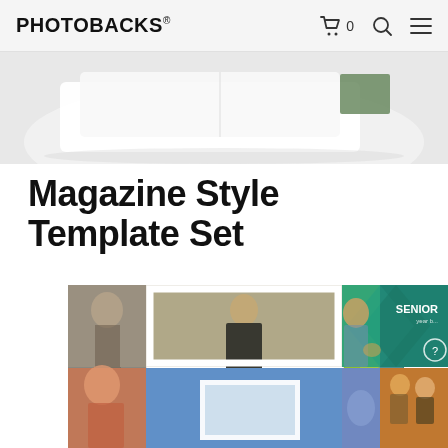PHOTOBACKS
[Figure (photo): Top portion of a white photo book product with a green accent, shown on a light grey background]
Magazine Style Template Set
$97.00  $57.00
ADD TO CART
[Figure (photo): Grid of magazine style photo templates showing portraits of women, outdoor shots, and a teal Senior portrait card with diamond pattern]